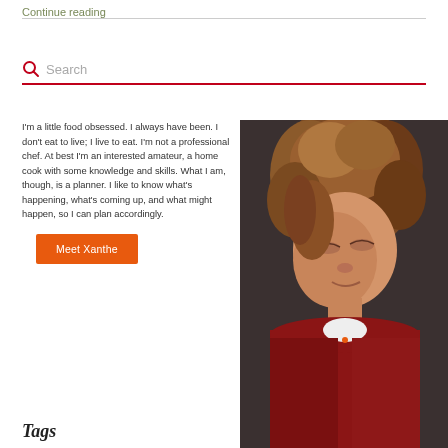Continue reading
Search
I'm a little food obsessed. I always have been. I don't eat to live; I live to eat. I'm not a professional chef. At best I'm an interested amateur, a home cook with some knowledge and skills. What I am, though, is a planner. I like to know what's happening, what's coming up, and what might happen, so I can plan accordingly.
Meet Xanthe
[Figure (photo): Woman with curly reddish-brown hair, looking down, wearing a red jacket]
Tags